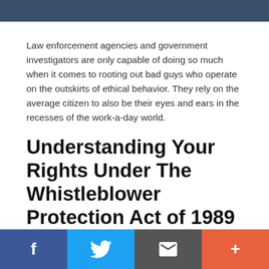Law enforcement agencies and government investigators are only capable of doing so much when it comes to rooting out bad guys who operate on the outskirts of ethical behavior. They rely on the average citizen to also be their eyes and ears in the recesses of the work-a-day world.
Understanding Your Rights Under The Whistleblower Protection Act of 1989
A report released in 2010 by the Merit Systems Protection Board, a limited-power judicial agency that handles